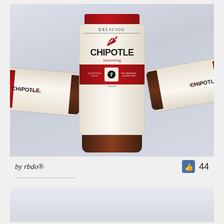[Figure (photo): Product photo showing three Deliciou Chipotle Seasoning spice jars. The center jar is upright showing the front label with brand name DELICIOU, a red chili pepper illustration, large CHIPOTLE text, red cursive 'seasoning', and a red band with icons indicating All Natural, Vegan, No Added MSG, Gluten Free, Smoky. Two other jars are lying on their sides on either side. Background is light blue-grey gradient.]
by rbdo®
44